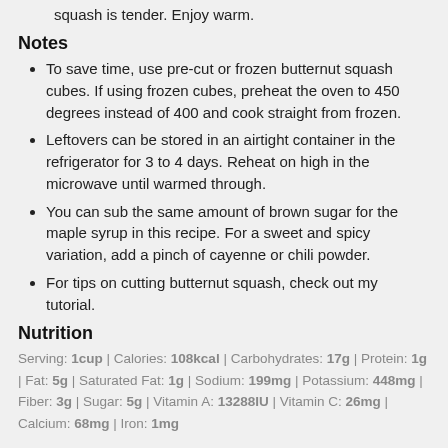squash is tender. Enjoy warm.
Notes
To save time, use pre-cut or frozen butternut squash cubes. If using frozen cubes, preheat the oven to 450 degrees instead of 400 and cook straight from frozen.
Leftovers can be stored in an airtight container in the refrigerator for 3 to 4 days. Reheat on high in the microwave until warmed through.
You can sub the same amount of brown sugar for the maple syrup in this recipe. For a sweet and spicy variation, add a pinch of cayenne or chili powder.
For tips on cutting butternut squash, check out my tutorial.
Nutrition
Serving: 1cup | Calories: 108kcal | Carbohydrates: 17g | Protein: 1g | Fat: 5g | Saturated Fat: 1g | Sodium: 199mg | Potassium: 448mg | Fiber: 3g | Sugar: 5g | Vitamin A: 13288IU | Vitamin C: 26mg | Calcium: 68mg | Iron: 1mg